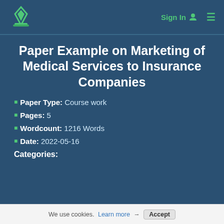Sign In ☰
Paper Example on Marketing of Medical Services to Insurance Companies
Paper Type: Course work
Pages: 5
Wordcount: 1216 Words
Date: 2022-05-16
Categories:
We use cookies. Learn more → Accept